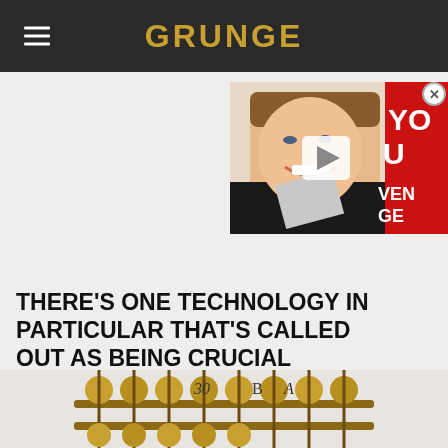GRUNGE
[Figure (screenshot): Video thumbnail showing a smiling man with a play button overlay, with red text partially visible on the right side reading 'YOU' and 'VENGE'. A close button (X) is in the top right corner.]
THERE'S ONE TECHNOLOGY IN PARTICULAR THAT'S CALLED OUT AS BEING CRUCIAL
[Figure (photo): Bottom portion of an image showing what appears to be an abacus or similar counting device with gold/bronze colored beads, partially cropped at the bottom of the page.]